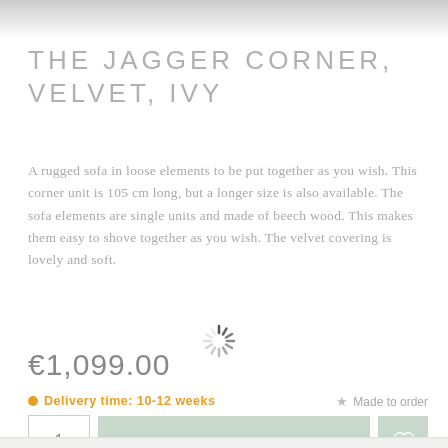[Figure (photo): Partial product image strip at top of page]
THE JAGGER CORNER, VELVET, IVY
A rugged sofa in loose elements to be put together as you wish. This corner unit is 105 cm long, but a longer size is also available. The sofa elements are single units and made of beech wood. This makes them easy to shove together as you wish. The velvet covering is lovely and soft.
€1,099.00
• Delivery time: 10-12 weeks
★ Made to order
1   ADD TO CART  ♡